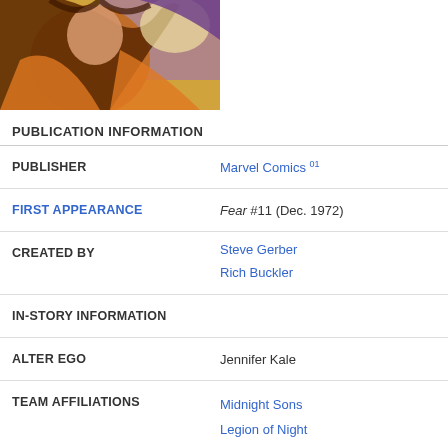[Figure (illustration): Comic book illustration of a female character with brown and orange costume against a purple/orange background]
PUBLICATION INFORMATION
| Field | Value |
| --- | --- |
| PUBLISHER | Marvel Comics 01 |
| FIRST APPEARANCE | Fear #11 (Dec. 1972) |
| CREATED BY | Steve Gerber
Rich Buckler |
| IN-STORY INFORMATION |  |
| ALTER EGO | Jennifer Kale |
| TEAM AFFILIATIONS | Midnight Sons
Legion of Night
Witches |